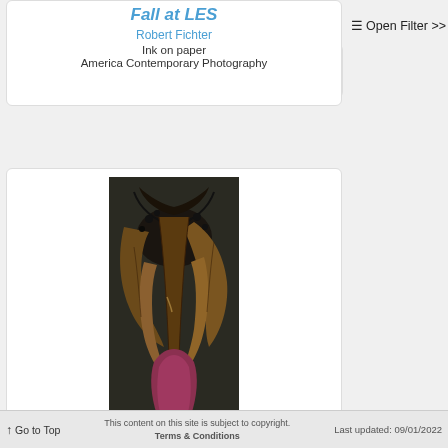Fall at LES
Robert Fichter
Ink on paper
America Contemporary Photography
≡ Open Filter >>
[Figure (photo): Photograph of a dried plant or flower, showing dark brown and reddish-purple organic forms against a dark background, resembling dried petals or husks of a vegetable or flower]
↑ Go to Top   This content on this site is subject to copyright. Terms & Conditions   Last updated: 09/01/2022